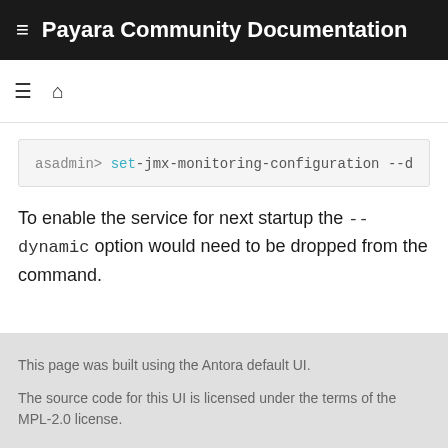Payara Community Documentation
[Figure (screenshot): Navigation bar with hamburger menu icon and home icon]
[Figure (screenshot): Code block showing: asadmin> set-jmx-monitoring-configuration --d]
To enable the service for next startup the --dynamic option would need to be dropped from the command.
This page was built using the Antora default UI.
The source code for this UI is licensed under the terms of the MPL-2.0 license.